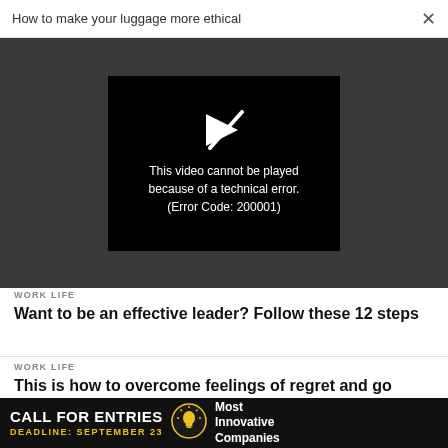How to make your luggage more ethical  ×
[Figure (screenshot): Video player error box on dark grey background showing a broken play button icon and text: This video cannot be played because of a technical error. (Error Code: 200001)]
WORK LIFE
Want to be an effective leader? Follow these 12 steps
WORK LIFE
This is how to overcome feelings of regret and go
[Figure (infographic): Ad banner: CALL FOR ENTRIES DEADLINE: SEPTEMBER 23 [lightbulb icon] Most Innovative Companies]